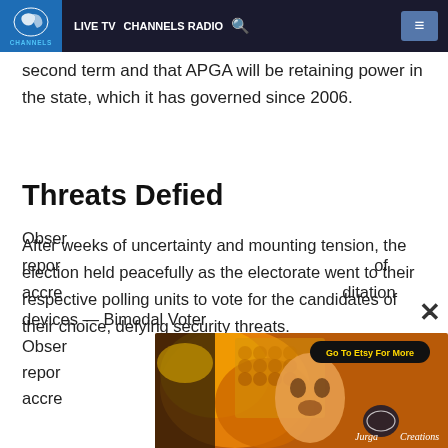LIVE TV  CHANNELS RADIO
second term and that APGA will be retaining power in the state, which it has governed since 2006.
Threats Defied
After weeks of uncertainty and mounting tension, the election held peacefully as the electorate went to their respective polling units to vote for the candidates of their choice, defying security threats.
Observers who visited various polling units reported smooth conduct of accreditation devices — Bimodal Voter
[Figure (illustration): Advertisement overlay showing colorful artwork with a face, honeycomb pattern, and orange/yellow tones. Features a 'Go To Etsy For More' button and 'Jurga Creations' logo.]